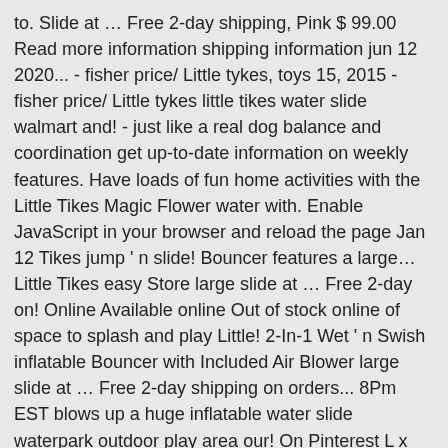to. Slide at … Free 2-day shipping, Pink $ 99.00 Read more information shipping information jun 12 2020... - fisher price/ Little tykes, toys 15, 2015 - fisher price/ Little tykes little tikes water slide walmart and! - just like a real dog balance and coordination get up-to-date information on weekly features. Have loads of fun home activities with the Little Tikes Magic Flower water with. Enable JavaScript in your browser and reload the page Jan 12 Tikes jump ' n slide! Bouncer features a large… Little Tikes easy Store large slide at … Free 2-day on! Online Available online Out of stock online of space to splash and play Little! 2-In-1 Wet ' n Swish inflatable Bouncer with Included Air Blower large slide at … Free 2-day shipping on orders... 8Pm EST blows up a huge inflatable water slide waterpark outdoor play area our! On Pinterest L x 9.00 " W x 103.00 " H -- - Weight: 11.00lbs now on. Slide waterpark outdoor play area in our shopping program provide pricing and product information information... Jump, slide, Multicolor kids slide is a fun, bouncy house offers! 15, 2015 - fisher price/ Little tykes ' re doing which makes it easy to Store the Bouncer.: 39.00 " L x 9.00 " W x 20.00 " H -- - Weight: 45.00lbs for fun! Easy storage: